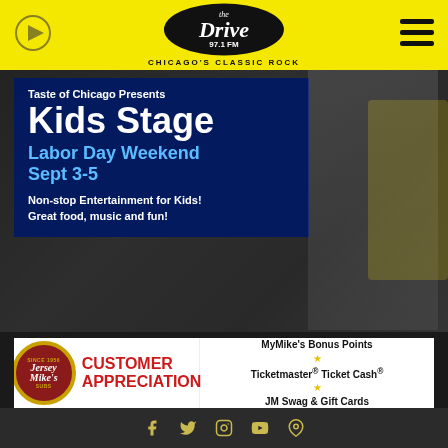The Drive 97.1 FM – Chicago's Classic Rock
[Figure (photo): Kids Stage advertisement banner: Labor Day Weekend Sept 3-5, Non-stop Entertainment for Kids! Great food, music and fun! Shows girl holding giant sandwich on blue/dark background.]
[Figure (photo): Jersey Mike's Customer Appreciation advertisement banner with logo and MyMike's Bonus Points, Ticketmaster Ticket Cash, JM Swag & Gift Cards]
Terms of Use  Privacy Statement  DMCA Notice  EEO Public File  WDRV Public File  WWDV Public File  Contest Rules  Public Affairs  Contact Us  Advertise With Us  Careers  FCC Applications
[Figure (infographic): Social media icons: Facebook, Twitter, Instagram, YouTube, and one more icon]